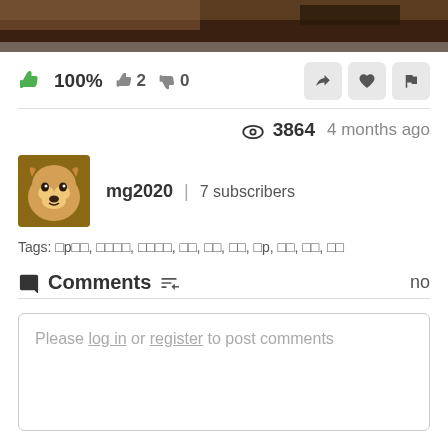[Figure (photo): Top portion of a video screenshot showing dark/brown tones, partially visible]
100%  2  0
👁 3864   4 months ago
mg2020 | 7 subscribers
[Figure (photo): Avatar thumbnail of a Shiba Inu dog]
Tags: □p□□, □□□□, □□□□, □□, □□, □□, □p, □□, □□, □□
Comments   no
Please log in or register to post comments